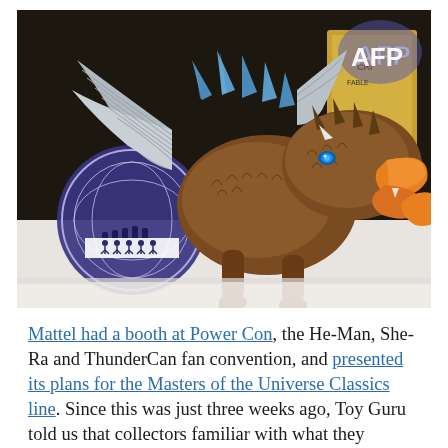[Figure (photo): Photo of a dragon/beast action figure (brown with blue spines and orange beak/claws, glowing blue eyes) displayed on a white surface at a convention booth. A circular logo/badge is visible on the left and an 'AFP' watermark appears in the top right corner.]
Mattel had a booth at Power Con, the He-Man, She-Ra and ThunderCan fan convention, and presented its plans for the Masters of the Universe Classics line. Since this was just three weeks ago, Toy Guru told us that collectors familiar with what they showed at Power Con